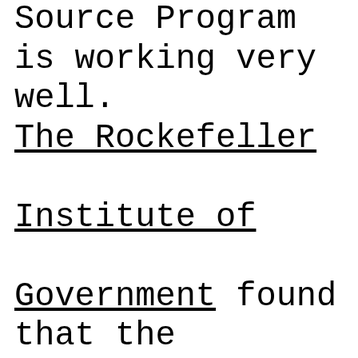Source Program is working very well. The Rockefeller Institute of Government found that the Preferred Source Program has